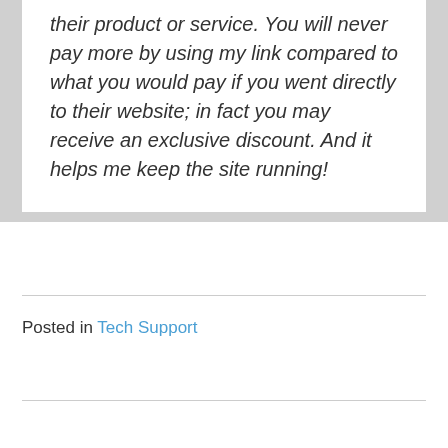their product or service. You will never pay more by using my link compared to what you would pay if you went directly to their website; in fact you may receive an exclusive discount. And it helps me keep the site running!
Posted in Tech Support